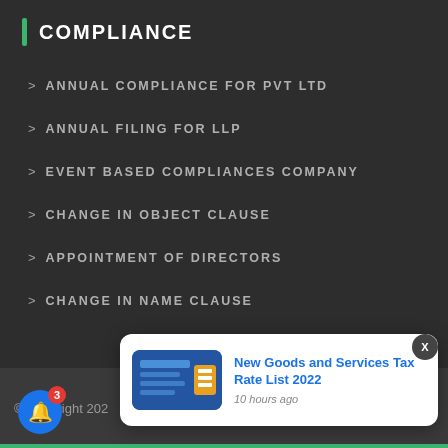COMPLIANCE
> ANNUAL COMPLIANCE FOR PVT LTD
> ANNUAL FILING FOR LLP
> EVENT BASED COMPLIANCES COMPANY
> CHANGE IN OBJECT CLAUSE
> APPOINTMENT OF DIRECTORS
> CHANGE IN NAME CLAUSE
© Copyright 202...
New Goods and Services Tax Rate List 2022
10 hours ago